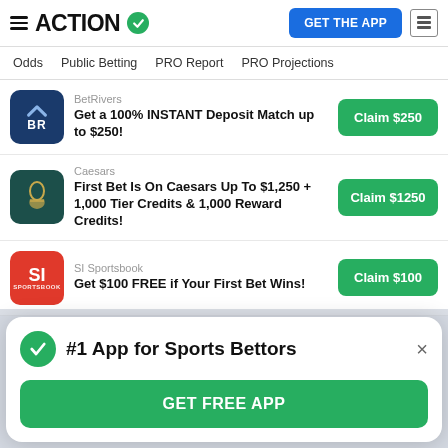ACTION — GET THE APP
Odds | Public Betting | PRO Report | PRO Projections
BetRivers
Get a 100% INSTANT Deposit Match up to $250!
Claim $250
Caesars
First Bet Is On Caesars Up To $1,250 + 1,000 Tier Credits & 1,000 Reward Credits!
Claim $1250
SI Sportsbook
Get $100 FREE if Your First Bet Wins!
Claim $100
#1 App for Sports Bettors
GET FREE APP